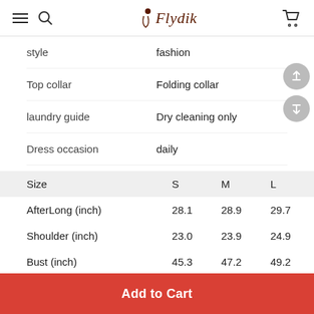Flydik
| Size | S | M | L |
| --- | --- | --- | --- |
| AfterLong (inch) | 28.1 | 28.9 | 29.7 |
| Shoulder (inch) | 23.0 | 23.9 | 24.9 |
| Bust (inch) | 45.3 | 47.2 | 49.2 |
style   fashion
Top collar   Folding collar
laundry guide   Dry cleaning only
Dress occasion   daily
Add to Cart